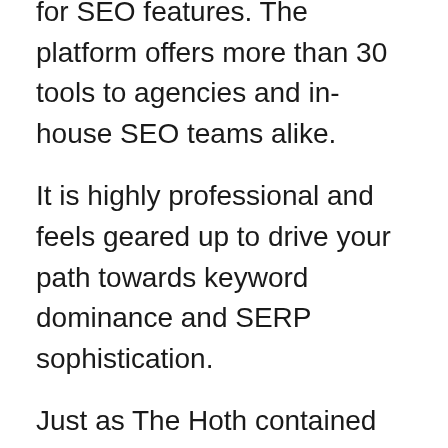for SEO features. The platform offers more than 30 tools to agencies and in-house SEO teams alike.
It is highly professional and feels geared up to drive your path towards keyword dominance and SERP sophistication.
Just as The Hoth contained too many features for us to list, so too does Serpstat. There is not necessarily a standout feature – they are all designed to near-perfection.
That is why Serpstat is a multi-award-